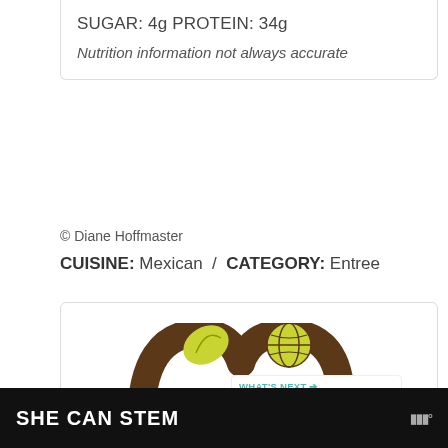SUGAR: 4g PROTEIN: 34g
Nutrition information not always accurate
© Diane Hoffmaster
CUISINE: Mexican / CATEGORY: Entree
[Figure (logo): Partial logo showing brown arch shapes and yellow/green leaf and globe graphic]
We use cookies on our website to give you the most relevant experience by remembering your preferences and repeat visits. By clicking "Accept All", you consent to the use of ALL the cookies. However, you may visit "Cookie Se..." provide a controlled consent.
WHAT'S NEXT → Shrimp Fajita Omelette...
SHE CAN STEM